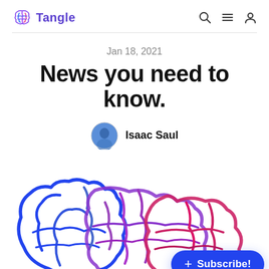Tangle
Jan 18, 2021
News you need to know.
Isaac Saul
[Figure (illustration): Colorful tangled brain illustration with blue, purple, and pink/red swirling lines forming a brain shape]
+ Subscribe!